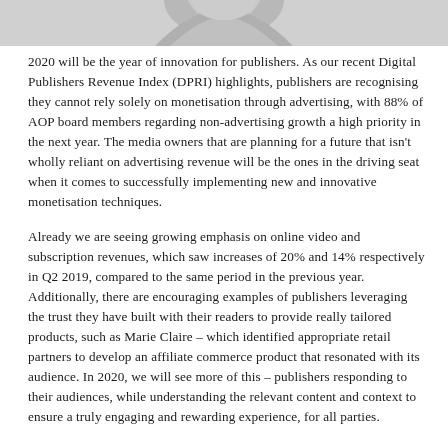[Figure (photo): Partial grayscale photo of a person at the top of the page, cropped]
2020 will be the year of innovation for publishers. As our recent Digital Publishers Revenue Index (DPRI) highlights, publishers are recognising they cannot rely solely on monetisation through advertising, with 88% of AOP board members regarding non-advertising growth a high priority in the next year. The media owners that are planning for a future that isn't wholly reliant on advertising revenue will be the ones in the driving seat when it comes to successfully implementing new and innovative monetisation techniques.
Already we are seeing growing emphasis on online video and subscription revenues, which saw increases of 20% and 14% respectively in Q2 2019, compared to the same period in the previous year. Additionally, there are encouraging examples of publishers leveraging the trust they have built with their readers to provide really tailored products, such as Marie Claire – which identified appropriate retail partners to develop an affiliate commerce product that resonated with its audience. In 2020, we will see more of this – publishers responding to their audiences, while understanding the relevant content and context to ensure a truly engaging and rewarding experience, for all parties.